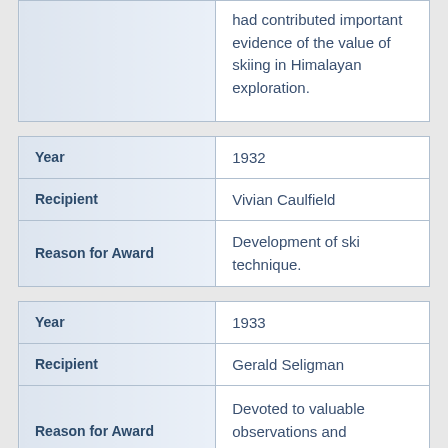|  |  |
| --- | --- |
|  | had contributed important evidence of the value of skiing in Himalayan exploration. |
|  |  |
| --- | --- |
| Year | 1932 |
| Recipient | Vivian Caulfield |
| Reason for Award | Development of ski technique. |
|  |  |
| --- | --- |
| Year | 1933 |
| Recipient | Gerald Seligman |
| Reason for Award | Devoted to valuable observations and |